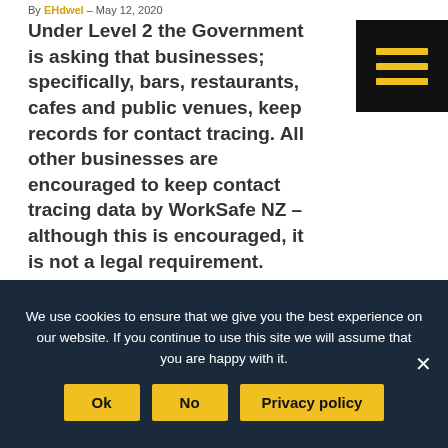By EHdwel – May 12, 2020
Under Level 2 the Government is asking that businesses; specifically, bars, restaurants, cafes and public venues, keep records for contact tracing. All other businesses are encouraged to keep contact tracing data by WorkSafe NZ – although this is encouraged, it is not a legal requirement.
You can view details around contact tracing requirements on the WorkSafe website https://worksafe.govt.nz/managing-health-and-safety/novel-coronavirus-covid/our-expectations-about-contact-tracing/
We use cookies to ensure that we give you the best experience on our website. If you continue to use this site we will assume that you are happy with it.